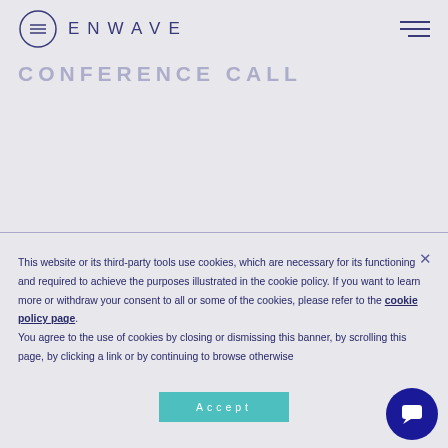ENWAVE
CONFERENCE CALL
This website or its third-party tools use cookies, which are necessary for its functioning and required to achieve the purposes illustrated in the cookie policy. If you want to learn more or withdraw your consent to all or some of the cookies, please refer to the cookie policy page. You agree to the use of cookies by closing or dismissing this banner, by scrolling this page, by clicking a link or by continuing to browse otherwise
Accept